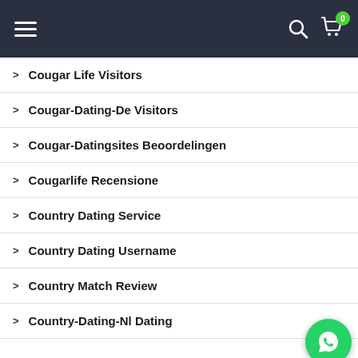Navigation menu bar with hamburger menu, search icon, and cart (0)
Cougar Life Visitors
Cougar-Dating-De Visitors
Cougar-Datingsites Beoordelingen
Cougarlife Recensione
Country Dating Service
Country Dating Username
Country Match Review
Country-Dating-Nl Dating
CountryMatch Visitors